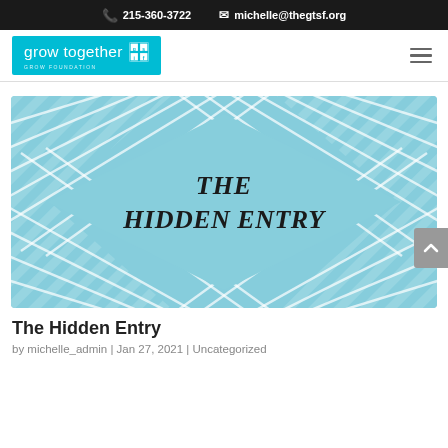📞 215-360-3722  ✉ michelle@thegtsf.org
[Figure (logo): Grow Together GTSF logo — cyan/teal background with white lowercase text 'grow together' and a small square icon with letters g, s, i, f]
[Figure (illustration): Featured blog post image: light blue background with diagonal white stripe pattern forming a diamond border, centered bold italic serif text reading 'THE HIDDEN ENTRY']
The Hidden Entry
by michelle_admin | Jan 27, 2021 | Uncategorized